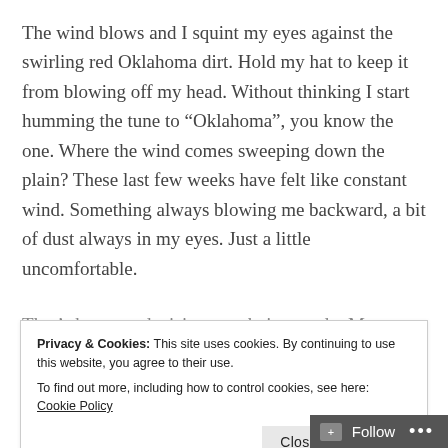The wind blows and I squint my eyes against the swirling red Oklahoma dirt. Hold my hat to keep it from blowing off my head. Without thinking I start humming the tune to “Oklahoma”, you know the one. Where the wind comes sweeping down the plain? These last few weeks have felt like constant wind. Something always blowing me backward, a bit of dust always in my eyes. Just a little uncomfortable.
That’s because decisions are being made. My decisions
Privacy & Cookies: This site uses cookies. By continuing to use this website, you agree to their use.
To find out more, including how to control cookies, see here: Cookie Policy
Close and accept
Follow ...